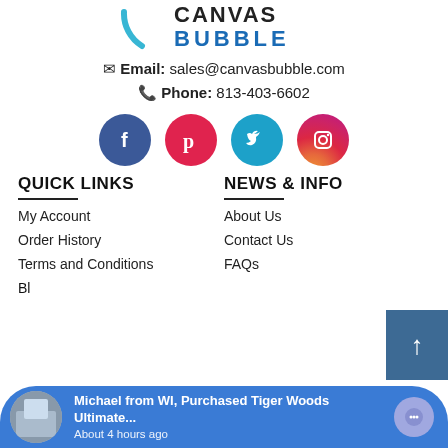[Figure (logo): Canvas Bubble logo with partial arc and stylized text CANVAS BUBBLE]
✉ Email: sales@canvasbubble.com
📞 Phone: 813-403-6602
[Figure (illustration): Four social media icons in circles: Facebook (blue), Pinterest (red), Twitter (teal), Instagram (gradient)]
QUICK LINKS
NEWS & INFO
My Account
About Us
Order History
Contact Us
Terms and Conditions
FAQs
Bl...
Michael from WI, Purchased Tiger Woods Ultimate... About 4 hours ago